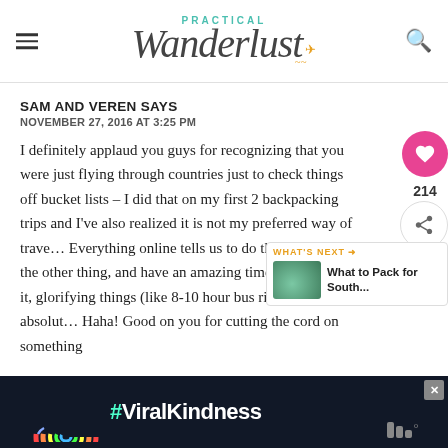Practical Wanderlust
SAM AND VEREN SAYS
NOVEMBER 27, 2016 AT 3:25 PM
I definitely applaud you guys for recognizing that you were just flying through countries just to check things off bucket lists – I did that on my first 2 backpacking trips and I've also realized it is not my preferred way of trave… Everything online tells us to do this, that, and the other thing, and have an amazing time while doing it, glorifying things (like 8-10 hour bus rides) that absolute… Haha! Good on you for cutting the cord on something
[Figure (screenshot): What's Next widget showing 'What to Pack for South...' with a thumbnail image]
[Figure (screenshot): #ViralKindness advertisement banner with rainbow graphic on dark background]